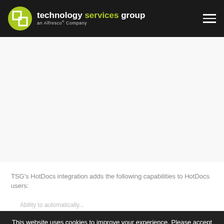technology services group — an Alfresco® Company
TSG's HotDocs integration adds the following capabilities to HotDocs users:
Ability to automatically...
This website uses cookies to improve your experience. Please accept this site's cookies, but you can opt-out if you wish.
Privacy Policy | ACCEPT | Cookie settings